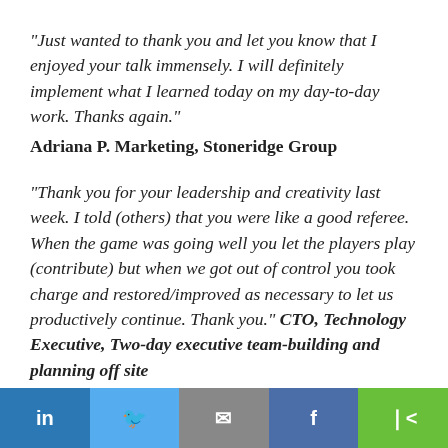"Just wanted to thank you and let you know that I enjoyed your talk immensely. I will definitely implement what I learned today on my day-to-day work. Thanks again." Adriana P. Marketing, Stoneridge Group
"Thank you for your leadership and creativity last week. I told (others) that you were like a good referee. When the game was going well you let the players play (contribute) but when we got out of control you took charge and restored/improved as necessary to let us productively continue. Thank you." CTO, Technology Executive, Two-day executive team-building and planning off site
Social share bar: LinkedIn, Twitter, Email, Facebook, Share